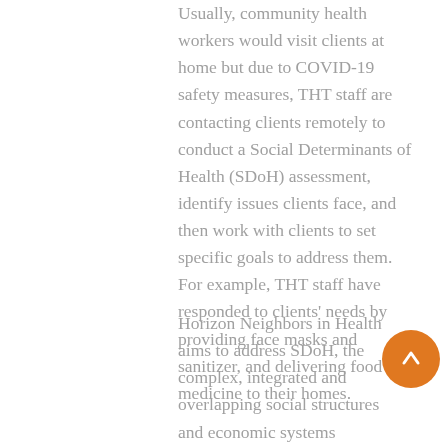Usually, community health workers would visit clients at home but due to COVID-19 safety measures, THT staff are contacting clients remotely to conduct a Social Determinants of Health (SDoH) assessment, identify issues clients face, and then work with clients to set specific goals to address them. For example, THT staff have responded to clients' needs by providing face masks and sanitizer, and delivering food and medicine to their homes.
Horizon Neighbors in Health aims to address SDoH, the complex, integrated and overlapping social structures and economic systems responsible for most health inequities. Traditional care